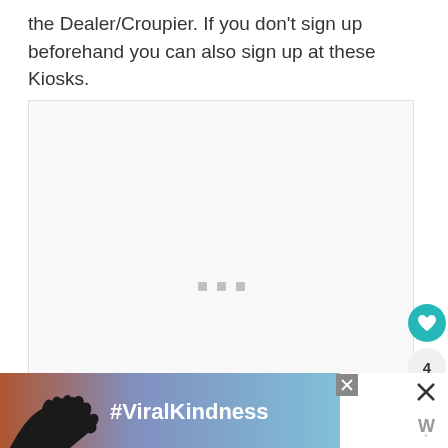the Dealer/Croupier. If you don't sign up beforehand you can also sign up at these Kiosks.
[Figure (photo): Large white/light grey image placeholder box with three small grey loading dots in the center, indicating an image that has not loaded.]
[Figure (photo): Advertisement banner at the bottom showing a silhouette of hands forming a heart shape against a colorful sunset sky background, with the text #ViralKindness in bold white. A close button (X) is shown in the upper right of the ad, and a website logo appears beneath it.]